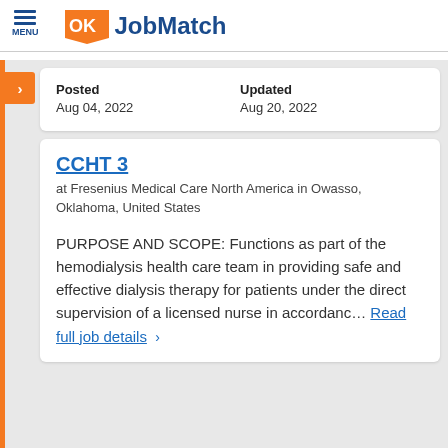MENU | OK JobMatch
| Posted | Updated |
| --- | --- |
| Aug 04, 2022 | Aug 20, 2022 |
CCHT 3
at Fresenius Medical Care North America in Owasso, Oklahoma, United States
PURPOSE AND SCOPE: Functions as part of the hemodialysis health care team in providing safe and effective dialysis therapy for patients under the direct supervision of a licensed nurse in accordanc… Read full job details  >